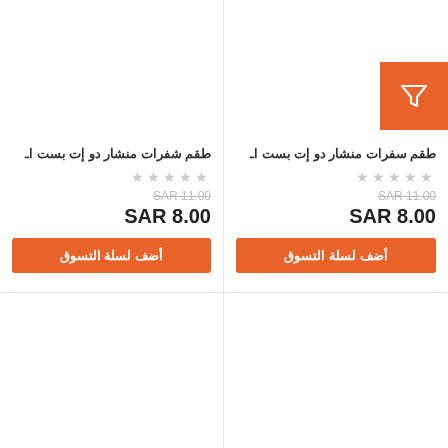[Figure (other): Product card left - no product image shown, white area]
طقم شفرات منشار دو إت بست اـ
★★★★★ (empty stars)
SAR 11.00 (strikethrough)
SAR 8.00
أضف لسلة التسوق
[Figure (other): Product card right with orange filter badge icon in top right corner]
طقم سفرات منشار دو إت بست اـ
★★★★★ (empty stars)
SAR 11.00 (strikethrough)
SAR 8.00
أضف لسلة التسوق